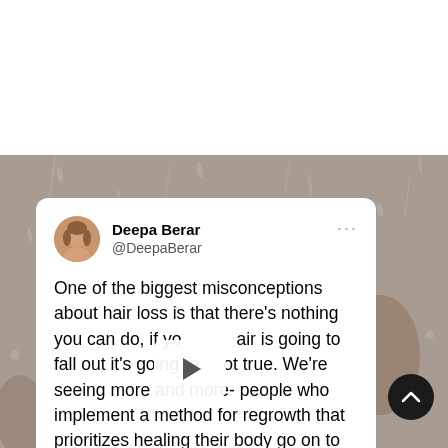[Figure (screenshot): Screenshot of a tweet by Deepa Berar (@DeepaBerar) on a rainy textured background. The tweet reads: 'One of the biggest misconceptions about hair loss is that there's nothing you can do, if yo[ur h]air is going to fall out it's going to. [N]ot true. We're seeing more and more- people who implement a method for regrowth that prioritizes healing their body go on to...' with a play button overlay on the text. A scroll-to-top button (dark circle with up chevron) is visible at bottom right.]